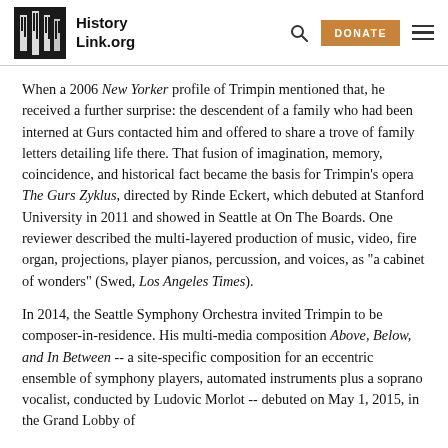HistoryLink.org
When a 2006 New Yorker profile of Trimpin mentioned that, he received a further surprise: the descendent of a family who had been interned at Gurs contacted him and offered to share a trove of family letters detailing life there. That fusion of imagination, memory, coincidence, and historical fact became the basis for Trimpin’s opera The Gurs Zyklus, directed by Rinde Eckert, which debuted at Stanford University in 2011 and showed in Seattle at On The Boards. One reviewer described the multi-layered production of music, video, fire organ, projections, player pianos, percussion, and voices, as "a cabinet of wonders" (Swed, Los Angeles Times).
In 2014, the Seattle Symphony Orchestra invited Trimpin to be composer-in-residence. His multi-media composition Above, Below, and In Between -- a site-specific composition for an eccentric ensemble of symphony players, automated instruments plus a soprano vocalist, conducted by Ludovic Morlot -- debuted on May 1, 2015, in the Grand Lobby of